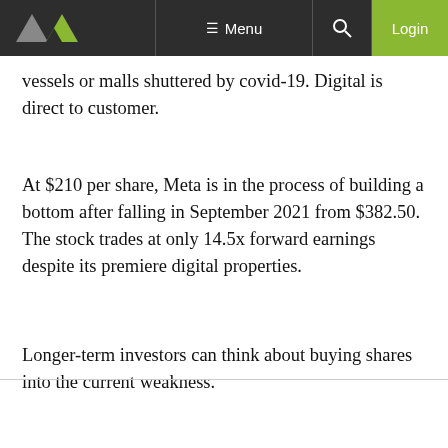Menu | Login
vessels or malls shuttered by covid-19. Digital is direct to customer.
At $210 per share, Meta is in the process of building a bottom after falling in September 2021 from $382.50. The stock trades at only 14.5x forward earnings despite its premiere digital properties.
Longer-term investors can think about buying shares into the current weakness.